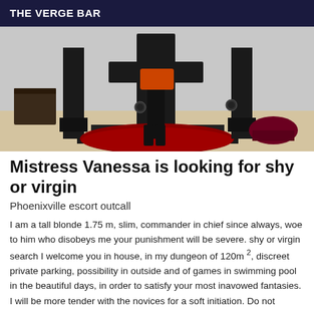THE VERGE BAR
[Figure (photo): Interior dungeon/BDSM room with black furniture, red fluffy rug, a person in boots standing near a cross/frame structure]
Mistress Vanessa is looking for shy or virgin
Phoenixville escort outcall
I am a tall blonde 1.75 m, slim, commander in chief since always, woe to him who disobeys me your punishment will be severe. shy or virgin search I welcome you in house, in my dungeon of 120m ², discreet private parking, possibility in outside and of games in swimming pool in the beautiful days, in order to satisfy your most inavowed fantasies. I will be more tender with the novices for a soft initiation. Do not